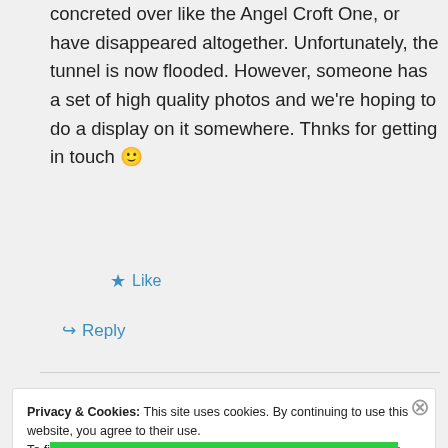concreted over like the Angel Croft One, or have disappeared altogether. Unfortunately, the tunnel is now flooded. However, someone has a set of high quality photos and we're hoping to do a display on it somewhere. Thnks for getting in touch 🙂
★ Like
↪ Reply
Privacy & Cookies: This site uses cookies. By continuing to use this website, you agree to their use.
To find out more, including how to control cookies, see here: Cookie Policy
Close and accept